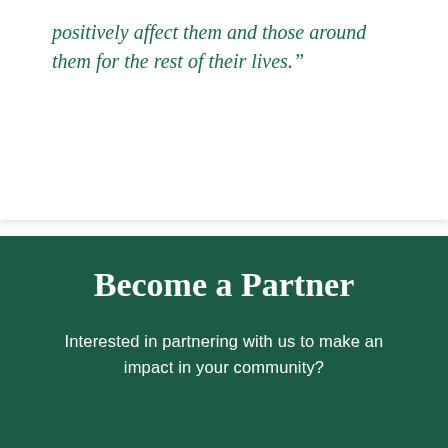positively affect them and those around them for the rest of their lives."
Become a Partner
Interested in partnering with us to make an impact in your community?